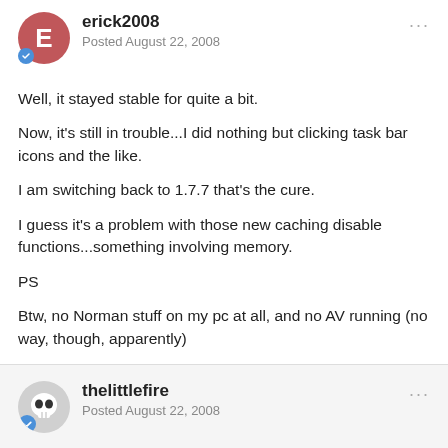erick2008
Posted August 22, 2008
Well, it stayed stable for quite a bit.
Now, it's still in trouble...I did nothing but clicking task bar icons and the like.
I am switching back to 1.7.7 that's the cure.
I guess it's a problem with those new caching disable functions...something involving memory.
PS
Btw, no Norman stuff on my pc at all, and no AV running (no way, though, apparently)
thelittlefire
Posted August 22, 2008
And your crashdumps are where? Ignoring the problem or letting